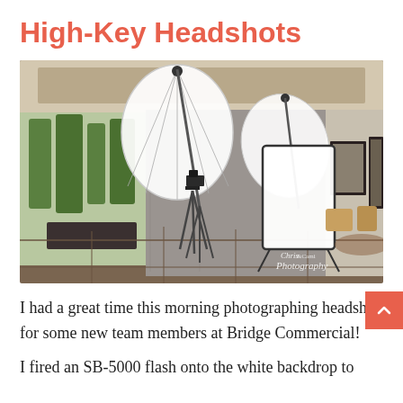High-Key Headshots
[Figure (photo): Photography studio setup in a modern lobby with large glass windows. Two large white umbrella softboxes on light stands, a camera on a tripod, a white reflector panel, and framed artwork on the wall. Watermark reads 'Chris & Cami Photography'.]
I had a great time this morning photographing headshots for some new team members at Bridge Commercial!
I fired an SB-5000 flash onto the white backdrop to